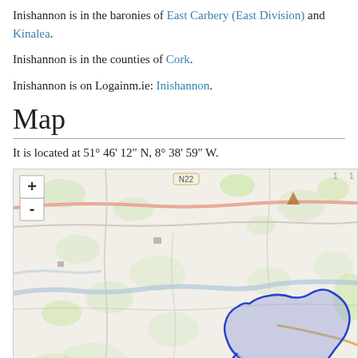Inishannon is in the baronies of East Carbery (East Division) and Kinalea.
Inishannon is in the counties of Cork.
Inishannon is on Logainm.ie: Inishannon.
Map
It is located at 51° 46' 12" N, 8° 38' 59" W.
[Figure (map): OpenStreetMap tile map showing the area around Inishannon, County Cork, Ireland. Shows road N22, surrounding countryside with green areas, and a blue outlined region (Inishannon townland/parish boundary) highlighted in blue/purple in the lower-right portion of the map. Map zoom controls (+/-) are visible in the upper left corner.]